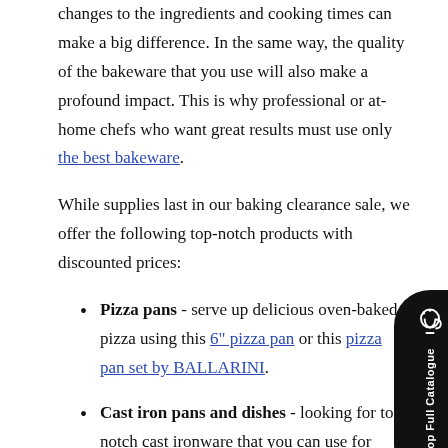changes to the ingredients and cooking times can make a big difference. In the same way, the quality of the bakeware that you use will also make a profound impact. This is why professional or at-home chefs who want great results must use only the best bakeware.
While supplies last in our baking clearance sale, we offer the following top-notch products with discounted prices:
Pizza pans - serve up delicious oven-baked pizza using this 6" pizza pan or this pizza pan set by BALLARINI.
Cast iron pans and dishes - looking for top-notch cast ironware that you can use for various baking needs? Check out this pepper popper cast iron pan, this cast iron casserole dish, this cast iron frying pan, and more in our baking sale!
[Figure (other): Black rounded button/tab on the right side of the page with a kitchen tool icon and vertical text reading 'Shop Full Catalogue']